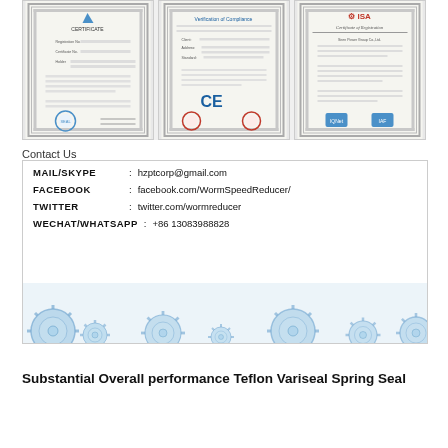[Figure (illustration): Three certificates displayed side by side: a Chinese quality certificate, a CE Verification of Compliance certificate, and an ISA Certificate of Registration]
Contact Us
[Figure (infographic): Contact information panel with gear/cog decorative background at bottom. Contains: MAIL/SKYPE: hzptcorp@gmail.com, FACEBOOK: facebook.com/WormSpeedReducer/, TWITTER: twitter.com/wormreducer, WECHAT/WHATSAPP: +86 13083988828]
Substantial Overall performance Teflon Variseal Spring Seal